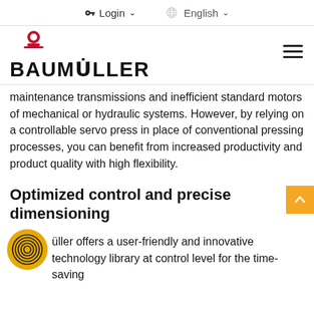Login ↓   English ↓
[Figure (logo): Baumuller logo with red libra scale icon above bold text BAUMULLER, and hamburger menu icon on the right]
maintenance transmissions and inefficient standard motors of mechanical or hydraulic systems. However, by relying on a controllable servo press in place of conventional pressing processes, you can benefit from increased productivity and product quality with high flexibility.
Optimized control and precise dimensioning
üller offers a user-friendly and innovative technology library at control level for the time-saving